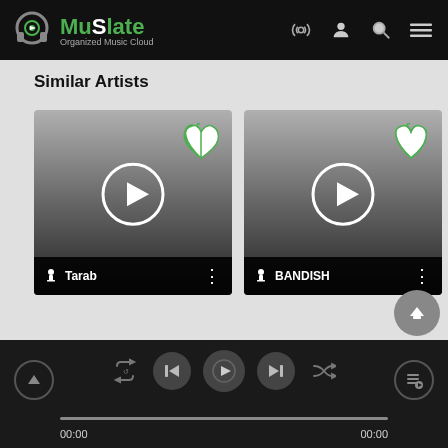[Figure (screenshot): MuSlate app header with logo (headphones icon, green MuSlate text, Organized Music Cloud subtitle) and navigation icons (radio, user, search, menu)]
Similar Artists
[Figure (screenshot): Artist card for Tarab: gradient background, heart icon, play button, microphone icon with label Tarab, three-dot menu]
[Figure (screenshot): Artist card for BANDISH: gradient background, heart icon, play button, microphone icon with label BANDISH, three-dot menu]
[Figure (screenshot): Music player bar with repeat, skip-back, play, skip-forward, shuffle controls, progress bar 00:00 / 00:00, up and queue buttons]